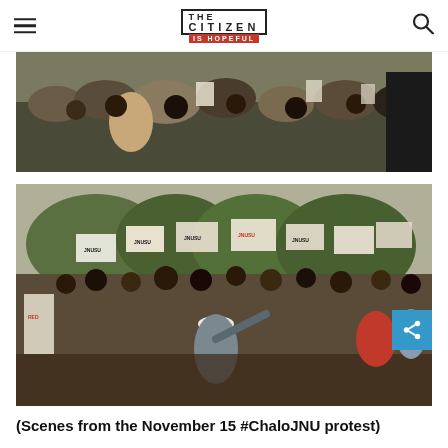THE CITIZEN IS HOPEFUL
[Figure (photo): Crowd of people seated at a protest, some holding papers, viewed from behind]
[Figure (photo): Large crowd at ChaloJNU protest holding JNUSU signs and banners, with a speaker addressing them outdoors]
(Scenes from the November 15 #ChaloJNU protest)